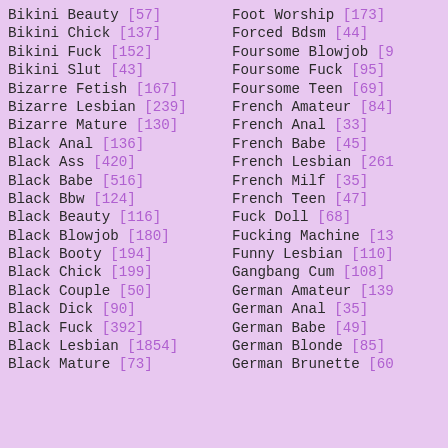Bikini Beauty [57]
Bikini Chick [137]
Bikini Fuck [152]
Bikini Slut [43]
Bizarre Fetish [167]
Bizarre Lesbian [239]
Bizarre Mature [130]
Black Anal [136]
Black Ass [420]
Black Babe [516]
Black Bbw [124]
Black Beauty [116]
Black Blowjob [180]
Black Booty [194]
Black Chick [199]
Black Couple [50]
Black Dick [90]
Black Fuck [392]
Black Lesbian [1854]
Black Mature [73]
Foot Worship [173]
Forced Bdsm [44]
Foursome Blowjob [9...]
Foursome Fuck [95]
Foursome Teen [69]
French Amateur [84]
French Anal [33]
French Babe [45]
French Lesbian [261]
French Milf [35]
French Teen [47]
Fuck Doll [68]
Fucking Machine [136]
Funny Lesbian [110]
Gangbang Cum [108]
German Amateur [139]
German Anal [35]
German Babe [49]
German Blonde [85]
German Brunette [60]